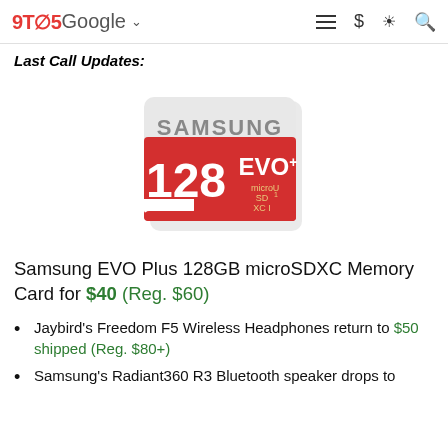9TO5Google
Last Call Updates:
[Figure (photo): Samsung EVO Plus 128GB microSDXC memory card product photo. Red and white card with Samsung branding, '128 EVO+ microSD XC UHS-I' printed on front.]
Samsung EVO Plus 128GB microSDXC Memory Card for $40 (Reg. $60)
Jaybird's Freedom F5 Wireless Headphones return to $50 shipped (Reg. $80+)
Samsung's Radiant360 R3 Bluetooth speaker drops to